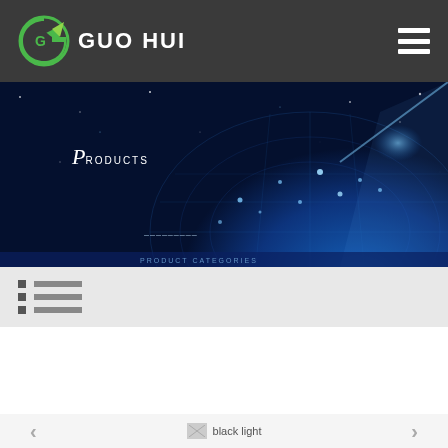[Figure (logo): GUO HUI company logo with green circular arrow icon and white company name text on dark grey header bar]
[Figure (photo): Dark blue space/technology banner image showing a glowing digital globe made of grid lines with light beams, starfield background, with 'Products' text overlay]
[Figure (infographic): Light grey navigation bar with three list items shown as bullet-and-line icons]
[Figure (infographic): Bottom product thumbnail navigation with left arrow, broken image placeholder labeled 'black light', and right arrow]